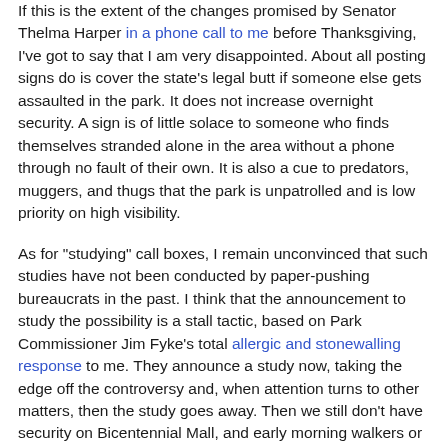If this is the extent of the changes promised by Senator Thelma Harper in a phone call to me before Thanksgiving, I've got to say that I am very disappointed. About all posting signs do is cover the state's legal butt if someone else gets assaulted in the park. It does not increase overnight security. A sign is of little solace to someone who finds themselves stranded alone in the area without a phone through no fault of their own. It is also a cue to predators, muggers, and thugs that the park is unpatrolled and is low priority on high visibility.
As for "studying" call boxes, I remain unconvinced that such studies have not been conducted by paper-pushing bureaucrats in the past. I think that the announcement to study the possibility is a stall tactic, based on Park Commissioner Jim Fyke's total allergic and stonewalling response to me. They announce a study now, taking the edge off the controversy and, when attention turns to other matters, then the study goes away. Then we still don't have security on Bicentennial Mall, and early morning walkers or stranded motorists are left with the cold solace of "closed signs." How do signs secure an accessible park?